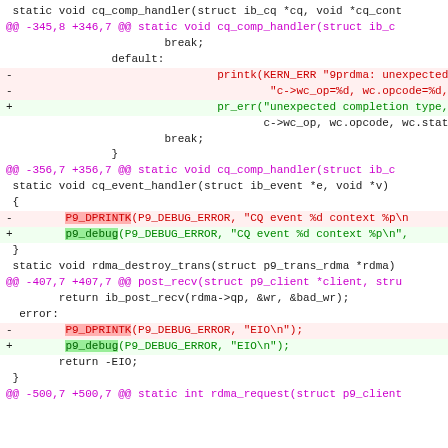static void cq_comp_handler(struct ib_cq *cq, void *cq_cont
@@ -345,8 +346,7 @@ static void cq_comp_handler(struct ib_c
break;
default:
-                               printk(KERN_ERR "9prdma: unexpected
-                                       "c->wc_op=%d, wc.opcode=%d, s
+                               pr_err("unexpected completion type,
c->wc_op, wc.opcode, wc.statu
break;
}
@@ -356,7 +356,7 @@ static void cq_comp_handler(struct ib_c
static void cq_event_handler(struct ib_event *e, void *v)
{
-        P9_DPRINTK(P9_DEBUG_ERROR, "CQ event %d context %p\n
+        p9_debug(P9_DEBUG_ERROR, "CQ event %d context %p\n",
}
static void rdma_destroy_trans(struct p9_trans_rdma *rdma)
@@ -407,7 +407,7 @@ post_recv(struct p9_client *client, stru
return ib_post_recv(rdma->qp, &wr, &bad_wr);
error:
-        P9_DPRINTK(P9_DEBUG_ERROR, "EIO\n");
+        p9_debug(P9_DEBUG_ERROR, "EIO\n");
return -EIO;
}
@@ -500,7 +500,7 @@ static int rdma_request(struct p9_client